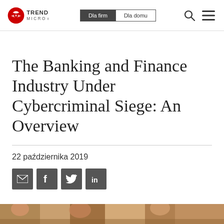Trend Micro — Dla firm | Dla domu
The Banking and Finance Industry Under Cybercriminal Siege: An Overview
22 października 2019
[Figure (other): Social share icons: email, Facebook, Twitter, LinkedIn]
[Figure (photo): Partial photo visible at bottom of page, showing people or faces]